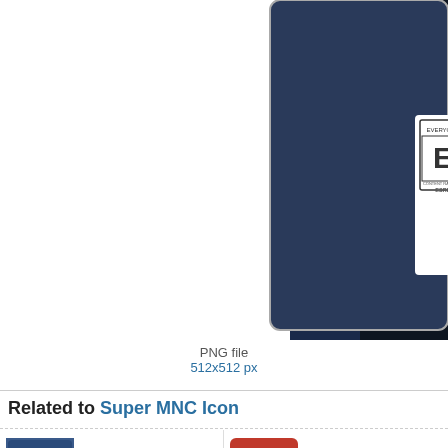[Figure (screenshot): Partial view of a video game box art showing an ESRB 'Everyone' rating badge on a dark action game background]
PNG file
512x512 px
Related to Super MNC Icon
[Figure (illustration): Super MNC Icon - PC game box art thumbnail]
Super MNC Icon
PC Game Icons 53
Commercial usage: Not allowed
[Figure (illustration): Super M icon - red cartoon face on red square]
Super M
Square B
Commerce
[Figure (illustration): Super Man Icon - black cartoon character with cape]
Super Man Icon
The Blacy! Icons
Commercial usage: Not allowed
[Figure (illustration): Birdo B icon - pink character with black eye]
Birdo B
Super Ma
Commerc
[Figure (illustration): Super Battle Droid Icon - gray robot]
Super Battle Droid Icon
Star Wars Characters Icons
Commercial usage: Not allowed
[Figure (illustration): Super 8 icon - gray device thumbnail]
Super 8
English M
Commerc